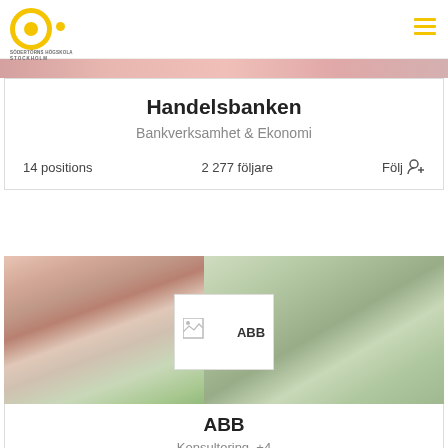[Figure (logo): Södertörns Högskola Stockholm circular logo in yellow]
[Figure (screenshot): Handelsbanken company card showing 14 positions, 2277 followers, Bankverksamhet & Ekonomi]
Handelsbanken
Bankverksamhet & Ekonomi
14 positions   2 277 följare   Följ
[Figure (photo): ABB company card with cityscape and landscape background images, ABB logo overlay]
ABB
Konsultering, +4